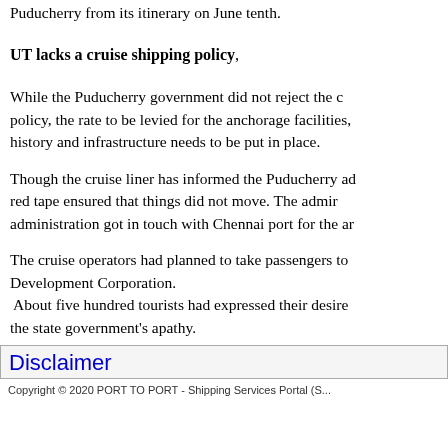Puducherry from its itinerary on June tenth.
UT lacks a cruise shipping policy,
While the Puducherry government did not reject the c... policy, the rate to be levied for the anchorage facilities, history and infrastructure needs to be put in place.
Though the cruise liner has informed the Puducherry ad... red tape ensured that things did not move. The admir... administration got in touch with Chennai port for the ar...
The cruise operators had planned to take passengers to... Development Corporation. About five hundred tourists had expressed their desire... the state government's apathy.
Disclaimer
Copyright © 2020 PORT TO PORT - Shipping Services Portal (S...